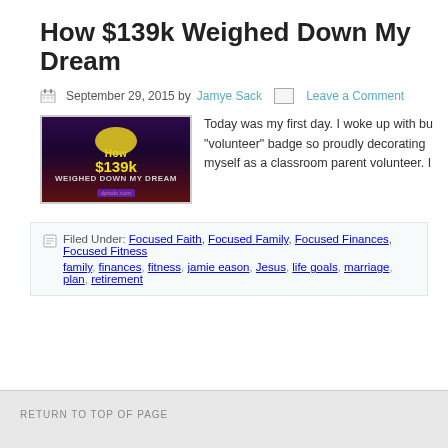How $139k Weighed Down My Dream
September 29, 2015 by Jamye Sack   Leave a Comment
[Figure (photo): Thumbnail image showing text 'How $139k WEIGHED DOWN MY DREAM' on a dark purple/red background]
Today was my first day. I woke up with bu... "volunteer" badge so proudly decorating myself as a classroom parent volunteer. I...
Filed Under: Focused Faith, Focused Family, Focused Finances, Focused Fitness family, finances, fitness, jamie eason, Jesus, life goals, marriage, plan, retirement
RETURN TO TOP OF PAGE